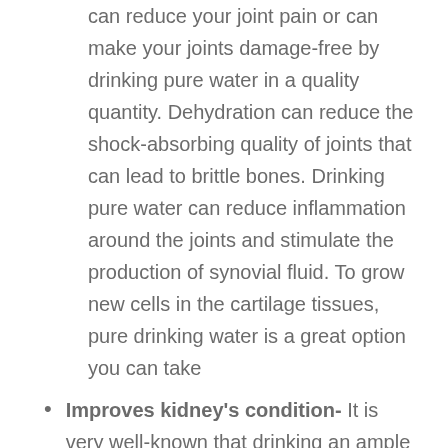can reduce your joint pain or can make your joints damage-free by drinking pure water in a quality quantity. Dehydration can reduce the shock-absorbing quality of joints that can lead to brittle bones. Drinking pure water can reduce inflammation around the joints and stimulate the production of synovial fluid. To grow new cells in the cartilage tissues, pure drinking water is a great option you can take
Improves kidney's condition- It is very well-known that drinking an ample quantity of water improves the conditions